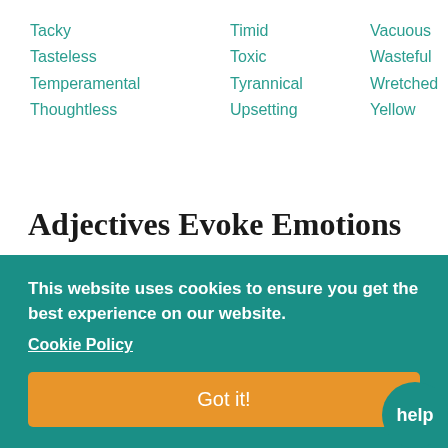Tacky
Tasteless
Temperamental
Thoughtless
Timid
Toxic
Tyrannical
Upsetting
Vacuous
Wasteful
Wretched
Yellow
Adjectives Evoke Emotions
Negative adjectives have the power to color nouns, bringing them to life by evoking an emotional response. When you use negative adjectives, readers will react emotionally, and...
This website uses cookies to ensure you get the best experience on our website. Cookie Policy
reader to feel